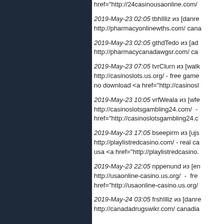href="http://24casinousaonline.com/
2019-May-23 02:05 tbhIlliz из [danre http://pharmacyonlinewths.com/ cana
2019-May-23 02:05 gthdTedo из [ad http://pharmacycanadawgsr.com/ ca
2019-May-23 07:05 tvrClurn из [walk http://casinoslots.us.org/ - free game no download <a href="http://casinosl
2019-May-23 10:05 vrfWeala из [wfe http://casinoslotsgambling24.com/ - href="http://casinoslotsgambling24.c
2019-May-23 17:05 bseepirm из [ujs http://playlistredcasino.com/ - real ca usa <a href="http://playlistredcasino.
2019-May-23 22:05 nppenund из [en http://usaonline-casino.us.org/ - fre href="http://usaonline-casino.us.org/
2019-May-24 03:05 frshIlliz из [danre http://canadadrugswikr.com/ canadia